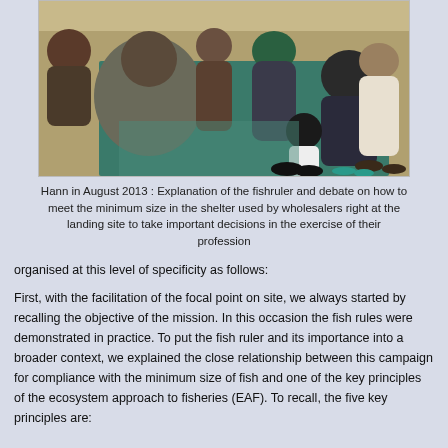[Figure (photo): Group of people sitting together on the ground at Hann in August 2013, discussing fish rules and minimum size compliance.]
Hann in August 2013 : Explanation of the fishruler and debate on how to meet the minimum size in the shelter used by wholesalers right at the landing site to take important decisions in the exercise of their profession
organised at this level of specificity as follows:
First, with the facilitation of the focal point on site, we always started by recalling the objective of the mission. In this occasion the fish rules were demonstrated in practice. To put the fish ruler and its importance into a broader context, we explained the close relationship between this campaign for compliance with the minimum size of fish and one of the key principles of the ecosystem approach to fisheries (EAF). To recall, the five key principles are: